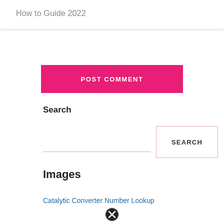How to Guide 2022
[Figure (other): Pink POST COMMENT button]
Search
[Figure (other): Search input field with SEARCH button]
Images
Catalytic Converter Number Lookup
[Figure (other): Close/cancel circle icon (X)]